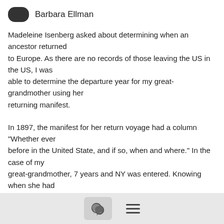Barbara Ellman
Madeleine Isenberg asked about determining when an ancestor returned to Europe. As there are no records of those leaving the US in the US, I was able to determine the departure year for my great-grandmother using her returning manifest.
In 1897, the manifest for her return voyage had a column "Whether ever before in the United State, and if so, when and where." In the case of my great-grandmother, 7 years and NY was entered. Knowing when she had originally arrived in NY, I could determine that she had been out of NY for 3 years and had left the US in 1894.